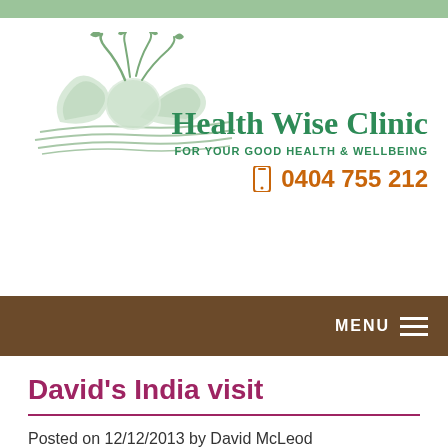[Figure (logo): Health Wise Clinic logo: stylized leaf/plant with flowing lines in light green/mint tones]
Health Wise Clinic
FOR YOUR GOOD HEALTH & WELLBEING
0404 755 212
MENU
David's India visit
Posted on 12/12/2013 by David McLeod